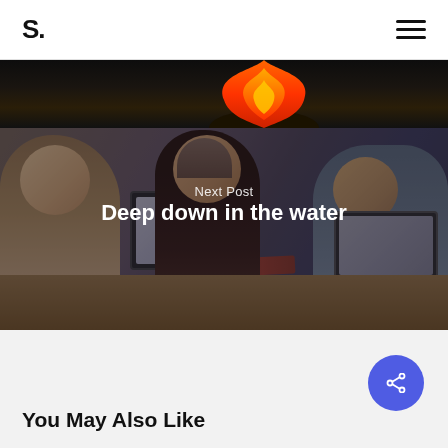S.
[Figure (photo): Hero image showing three people (two women and one person with short hair) sitting at a wooden table with laptops, smiling and laughing. A fire/warm light is visible in the upper portion of the image. Dark overlay on the photo. Overlaid text reads 'Next Post' and 'Deep down in the water'.]
Next Post
Deep down in the water
You May Also Like